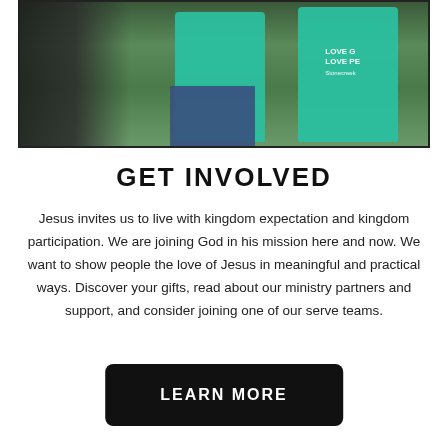[Figure (photo): Photo of people wearing teal 'LOVE GOD LOVE PEOPLE' shirts at an outdoor event, partially cropped at top]
GET INVOLVED
Jesus invites us to live with kingdom expectation and kingdom participation. We are joining God in his mission here and now. We want to show people the love of Jesus in meaningful and practical ways. Discover your gifts, read about our ministry partners and support, and consider joining one of our serve teams.
LEARN MORE